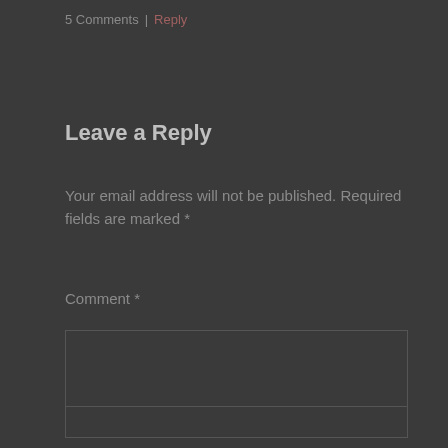5 Comments | Reply
Leave a Reply
Your email address will not be published. Required fields are marked *
Comment *